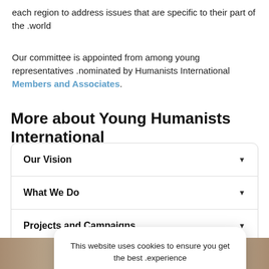each region to address issues that are specific to their part of the world.
Our committee is appointed from among young representatives nominated by Humanists International Members and Associates.
More about Young Humanists International
Our Vision
What We Do
Projects and Campaigns
Co...
This website uses cookies to ensure you get the best experience.